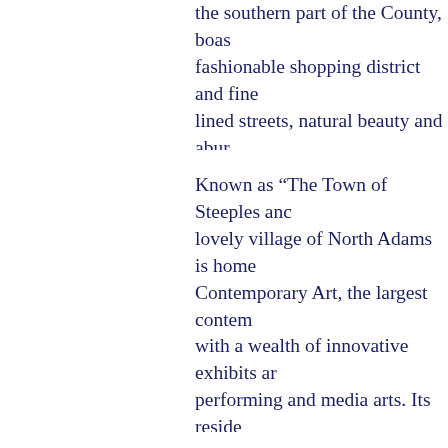the southern part of the County, boasts a fashionable shopping district and fine tree-lined streets, natural beauty and abun... town has much to offer for affordable...
Known as "The Town of Steeples and..." lovely village of North Adams is home... Contemporary Art, the largest contem... with a wealth of innovative exhibits and performing and media arts. Its reside... historical sites, other cultural attractio...
Yet another tiny village known for its c... Shelburne Falls, which has been incl... towns in America" in a recent publica... Sunday afternoon, Main Street is clos... remarkably similar to the time it was p... nostalgic setting, there is a unique se... town warmth and hospitality. Visitors ... 200 year-old Red Lion Inn, a Berkshi... streets that evoke memories of Rocky... scene.
But the rich cultural scene is just one ... Berkshires. For, in addition, it is a true... abundance of natural scenery and g...